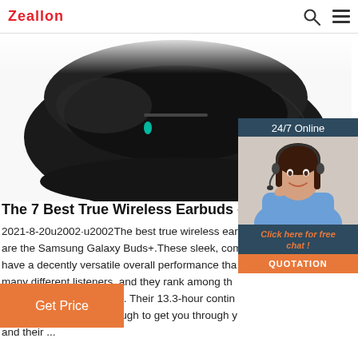Zeallon
[Figure (photo): Close-up product photo of black wireless earbud charging case, partially open, with a teal LED indicator light visible]
[Figure (photo): 24/7 Online customer service widget showing a female customer service agent wearing a headset and smiling, with text 'Click here for free chat!' and a QUOTATION button]
The 7 Best True Wireless Earbuds - Fall 2021
2021-8-20u2002·u2002The best true wireless earbuds are the Samsung Galaxy Buds+.These sleek, comfortable earbuds have a decently versatile overall performance that suits many different listeners, and they rank among the best headphones we've tested. Their 13.3-hour continuous battery life should be more than enough to get you through your day, and their ...
Get Price